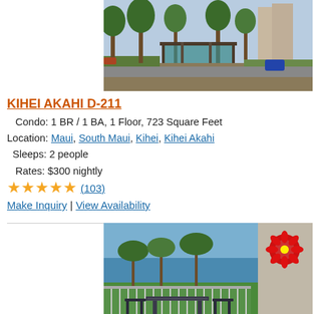[Figure (photo): Aerial view of a condo complex with trees, a covered pavilion, and parking area]
KIHEI AKAHI D-211
Condo: 1 BR / 1 BA, 1 Floor, 723 Square Feet
Location: Maui, South Maui, Kihei, Kihei Akahi
Sleeps: 2 people
Rates: $300 nightly
★★★★★ (103)
Make Inquiry | View Availability
[Figure (photo): Balcony view of a beach property with ocean, palm trees, green lawn, and outdoor table and chairs; red hibiscus flower logo visible on wall]